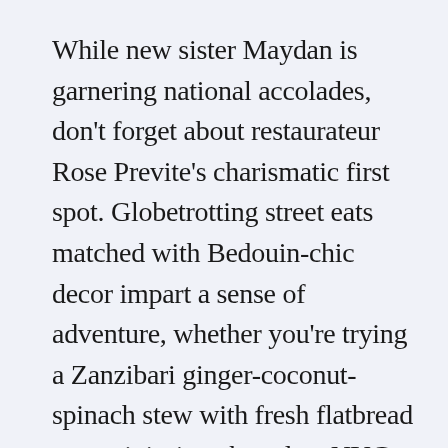While new sister Maydan is garnering national accolades, don't forget about restaurateur Rose Previte's charismatic first spot. Globetrotting street eats matched with Bedouin-chic decor impart a sense of adventure, whether you're trying a Zanzibari ginger-coconut-spinach stew with fresh flatbread or reminiscing about late NYC nights over a lamb-and-rice platter doused in white sauce. The wanderlust continues at the bar, where barkeeps pour sparkling Bolivian wine-and-brandy cocktails. And yes, that famed Georgian khachapuri (cheese bread) is still a